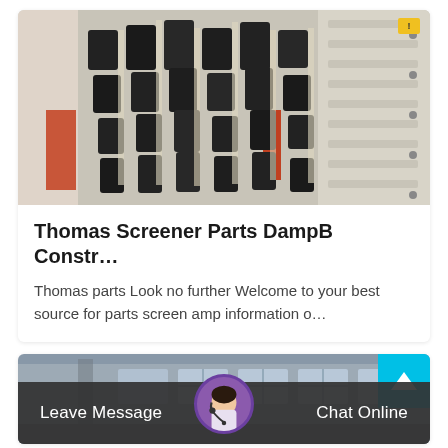[Figure (photo): Photo of stacked black and cream-colored screener parts (crusher/mining equipment panels) in an outdoor industrial setting]
Thomas Screener Parts DampB Constr...
Thomas parts Look no further Welcome to your best source for parts screen amp information o...
[Figure (photo): Photo of industrial factory building exterior, partially visible]